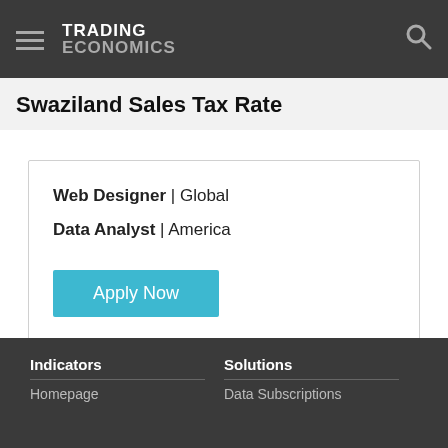TRADING ECONOMICS
Swaziland Sales Tax Rate
Web Designer | Global
Data Analyst | America
Apply Now
Indicators | Homepage | Solutions | Data Subscriptions